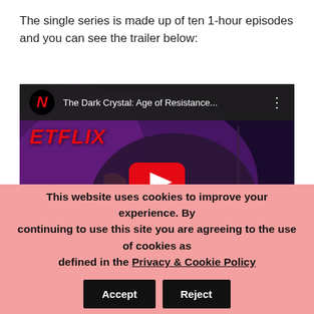The single series is made up of ten 1-hour episodes and you can see the trailer below:
[Figure (screenshot): Embedded YouTube video player showing Netflix trailer for 'The Dark Crystal: Age of Resistance...' with a dark fantasy creature (bird-like monster) and a red YouTube play button in the center. Netflix logo and ETFLIX text visible in top-left of video.]
This website uses cookies to improve your experience. By continuing to use this site you are agreeing to the use of cookies as defined in the Privacy & Cookie Policy  Accept  Reject